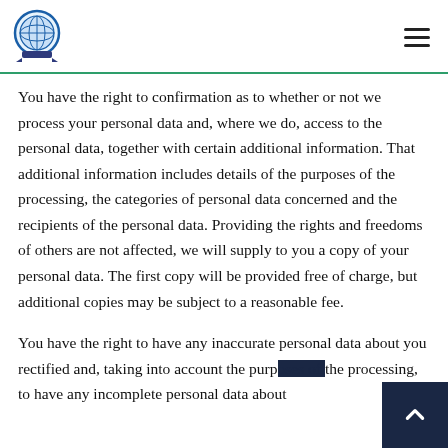Logo and navigation menu
You have the right to confirmation as to whether or not we process your personal data and, where we do, access to the personal data, together with certain additional information. That additional information includes details of the purposes of the processing, the categories of personal data concerned and the recipients of the personal data. Providing the rights and freedoms of others are not affected, we will supply to you a copy of your personal data. The first copy will be provided free of charge, but additional copies may be subject to a reasonable fee.
You have the right to have any inaccurate personal data about you rectified and, taking into account the purposes of the processing, to have any incomplete personal data about